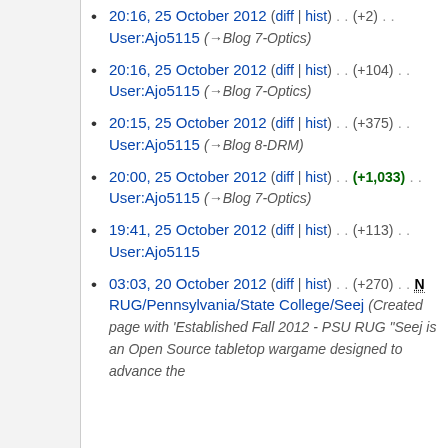20:16, 25 October 2012 (diff | hist) . . (+2) . . User:Ajo5115 (→Blog 7-Optics)
20:16, 25 October 2012 (diff | hist) . . (+104) . . User:Ajo5115 (→Blog 7-Optics)
20:15, 25 October 2012 (diff | hist) . . (+375) . . User:Ajo5115 (→Blog 8-DRM)
20:00, 25 October 2012 (diff | hist) . . (+1,033) . . User:Ajo5115 (→Blog 7-Optics)
19:41, 25 October 2012 (diff | hist) . . (+113) . . User:Ajo5115
03:03, 20 October 2012 (diff | hist) . . (+270) . . N RUG/Pennsylvania/State College/Seej (Created page with 'Established Fall 2012 - PSU RUG "Seej is an Open Source tabletop wargame designed to advance the